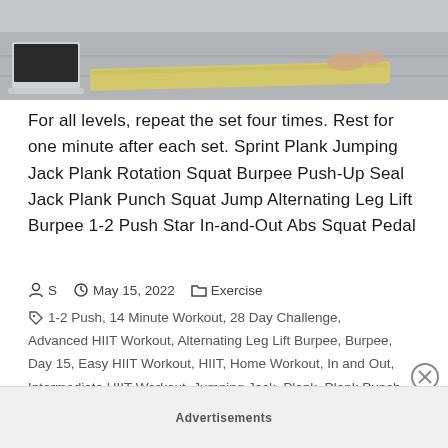[Figure (photo): Partial photo showing a laptop on a wooden floor and a person rolling out a yellow yoga/exercise mat]
For all levels, repeat the set four times. Rest for one minute after each set. Sprint Plank Jumping Jack Plank Rotation Squat Burpee Push-Up Seal Jack Plank Punch Squat Jump Alternating Leg Lift Burpee 1-2 Push Star In-and-Out Abs Squat Pedal
S   May 15, 2022   Exercise
1-2 Push, 14 Minute Workout, 28 Day Challenge, Advanced HIIT Workout, Alternating Leg Lift Burpee, Burpee, Day 15, Easy HIIT Workout, HIIT, Home Workout, In and Out, Intermediate HIIT Workout, Jumping Jack, Plank, Plank Punch,
Advertisements